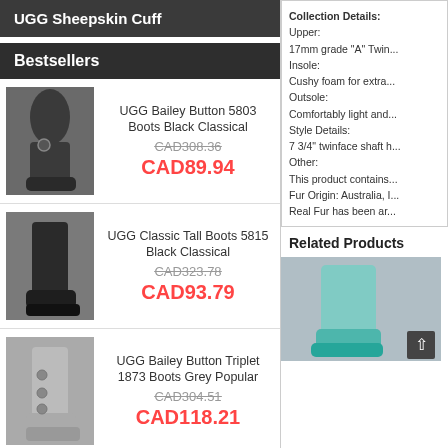UGG Sheepskin Cuff
Bestsellers
UGG Bailey Button 5803 Boots Black Classical
CAD308.36
CAD89.94
UGG Classic Tall Boots 5815 Black Classical
CAD323.78
CAD93.79
UGG Bailey Button Triplet 1873 Boots Grey Popular
CAD304.51
CAD118.21
UGG Bailey Button Triplet 1873 Boots Chestnut Hot Sale
CAD304.51
CAD118.21
Collection Details:
Upper:
17mm grade "A" Twin...
Insole:
Cushy foam for extra...
Outsole:
Comfortably light and...
Style Details:
7 3/4" twinface shaft h...
Other:
This product contains...
Fur Origin: Australia, I...
Real Fur has been ar...
Related Products
[Figure (photo): Teal/turquoise UGG boot product photo]